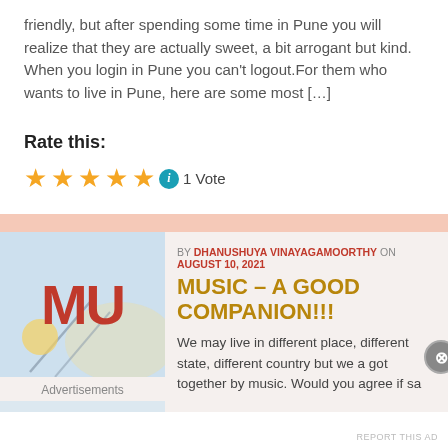friendly, but after spending some time in Pune you will realize that they are actually sweet, a bit arrogant but kind. When you login in Pune you can't logout.For them who wants to live in Pune, here are some most […]
Rate this:
1 Vote
BY DHANUSHUYA VINAYAGAMOORTHY ON AUGUST 10, 2021
MUSIC – A GOOD COMPANION!!!
We may live in different place, different state, different country but we a got together by music. Would you agree if sa
Advertisements
REPORT THIS AD